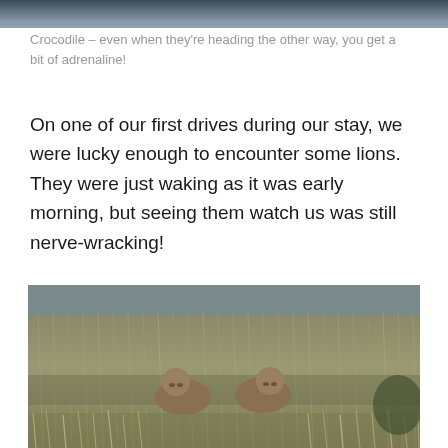[Figure (photo): Top portion of a photo showing a dark stormy sky, partially cropped at the top of the page.]
Crocodile – even when they're heading the other way, you get a bit of adrenaline!
On one of our first drives during our stay, we were lucky enough to encounter some lions. They were just waking as it was early morning, but seeing them watch us was still nerve-wracking!
[Figure (photo): Photo of two lions sitting in tall golden savanna grass, partially visible, looking toward the camera.]